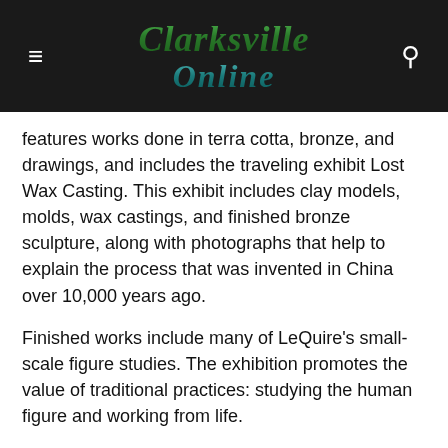Clarksville Online
features works done in terra cotta, bronze, and drawings, and includes the traveling exhibit Lost Wax Casting. This exhibit includes clay models, molds, wax castings, and finished bronze sculpture, along with photographs that help to explain the process that was invented in China over 10,000 years ago.
Finished works include many of LeQuire's small-scale figure studies. The exhibition promotes the value of traditional practices: studying the human figure and working from life.
Holiday from the Collection
November 1st – December 31st | The Leaf Chronicle Lobby Objects from the permanent collection of the Customs House Museum & Cultural Center celebrate the holiday